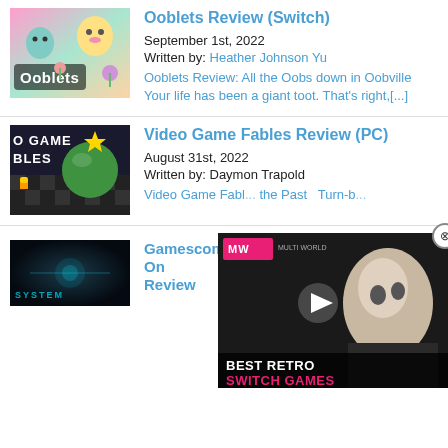[Figure (screenshot): Ooblets game thumbnail - colorful characters with Ooblets logo]
Ooblets Review (Switch)
September 1st, 2022
Written by: Heather Johnson Yu
Ooblets Review: All the Oobs down in Oobville Your life has been a giant toot. That's right,[...]
[Figure (screenshot): Video Game Fables game thumbnail - retro style game art]
Video Game Fables Review (PC)
August 31st, 2022
Written by: Daymon Trapold
Video Game Fabl... the Past  Turn-b...
[Figure (screenshot): MW video overlay - Best Retro Switch Games with masked character]
[Figure (screenshot): System Shock game thumbnail - dark sci-fi art]
Gamescom 2022: System Shock Hands-On Review